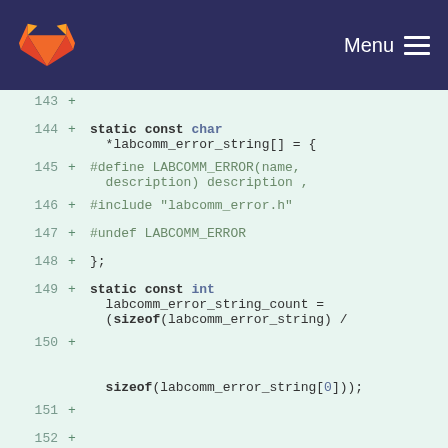GitLab Menu
[Figure (screenshot): GitLab code diff view showing C source code lines 143-154 with added lines marked with + in a light green background. Code shows static const char array labcomm_error_string, #define and #include macros, static const int labcomm_error_string_count with sizeof expressions, and const char *labcomm_error_get_str function declaration.]